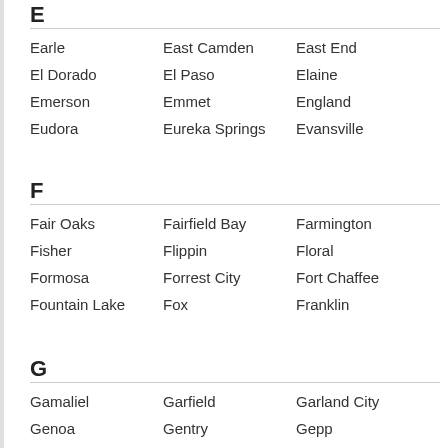E
Earle
East Camden
East End
El Dorado
El Paso
Elaine
Emerson
Emmet
England
Eudora
Eureka Springs
Evansville
F
Fair Oaks
Fairfield Bay
Farmington
Fisher
Flippin
Floral
Formosa
Forrest City
Fort Chaffee
Fountain Lake
Fox
Franklin
G
Gamaliel
Garfield
Garland City
Genoa
Gentry
Gepp
Gilmore
Glen Rose
Glencoe
Goshen
Gosnell
Gould
Gravel Ridge
Gravelly
Gravette